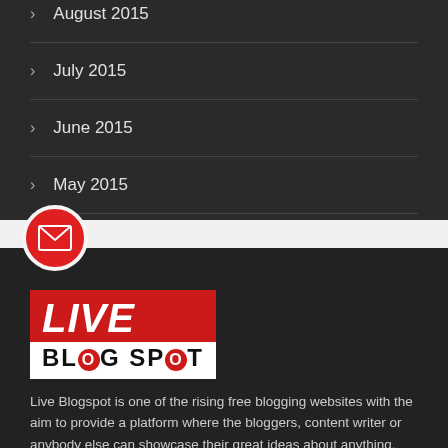August 2015
July 2015
June 2015
May 2015
[Figure (logo): Live Blog Spot logo with red background for LIVE text and white background for BLOG SPOT text]
Live Blogspot is one of the rising free blogging websites with the aim to provide a platform where the bloggers, content writer or anybody else can showcase their great ideas about anything. Whether you love to write about Entertainment, Real Estates, Finance, Business, Automobiles, Health or any other Live Blogspot is all yours. Many times you have some concerns